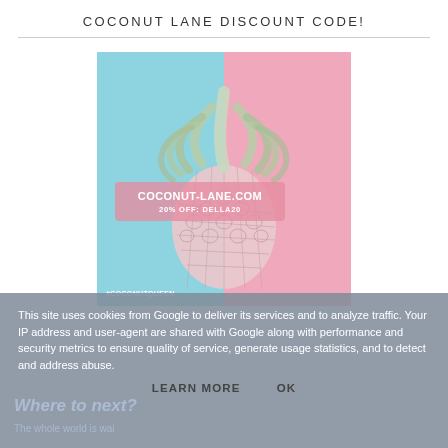COCONUT LANE DISCOUNT CODE!
[Figure (photo): Promotional image for Coconut Lane showing a pink-toned pineapple against a split blue and pink background. Contains text overlay: COCONUT-LANE.COM, 20% OFF: DELLA20, and hashtag #COCONUTQUEEN.]
This site uses cookies from Google to deliver its services and to analyze traffic. Your IP address and user-agent are shared with Google along with performance and security metrics to ensure quality of service, generate usage statistics, and to detect and address abuse.
LEARN MORE   OK